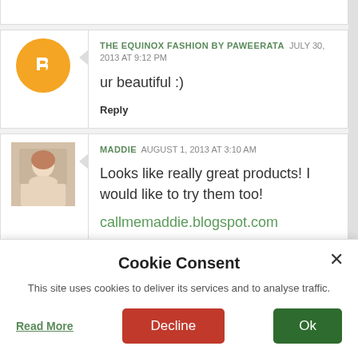THE EQUINOX FASHION BY PAWEERATA  JULY 30, 2013 AT 9:12 PM
ur beautiful :)
Reply
MADDIE  AUGUST 1, 2013 AT 3:10 AM
Looks like really great products! I would like to try them too!
callmemaddie.blogspot.com
Cookie Consent
This site uses cookies to deliver its services and to analyse traffic.
Read More
Decline
Ok
on you.